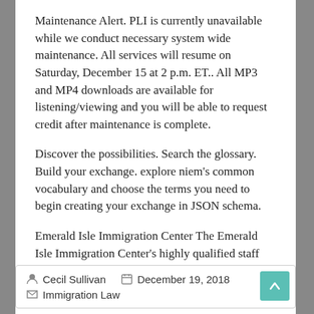Maintenance Alert. PLI is currently unavailable while we conduct necessary system wide maintenance. All services will resume on Saturday, December 15 at 2 p.m. ET.. All MP3 and MP4 downloads are available for listening/viewing and you will be able to request credit after maintenance is complete.
Discover the possibilities. Search the glossary. Build your exchange. explore niem's common vocabulary and choose the terms you need to begin creating your exchange in JSON schema.
Emerald Isle Immigration Center The Emerald Isle Immigration Center's highly qualified staff assists clients in many aspects of immigrant life and law.
Cecil Sullivan   December 19, 2018   Immigration Law